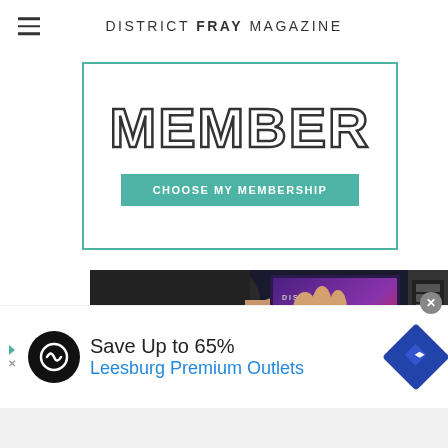DISTRICT FRAY MAGAZINE
[Figure (other): Member banner advertisement with large outlined 'MEMBER' text and teal 'CHOOSE MY MEMBERSHIP' button inside a teal-bordered box]
[Figure (photo): Photo of a hand holding a District Fray magazine with purple and red cover design]
[Figure (other): Infolinks advertisement banner: 'Save Up to 65% Leesburg Premium Outlets' with logo and navigation arrow icon]